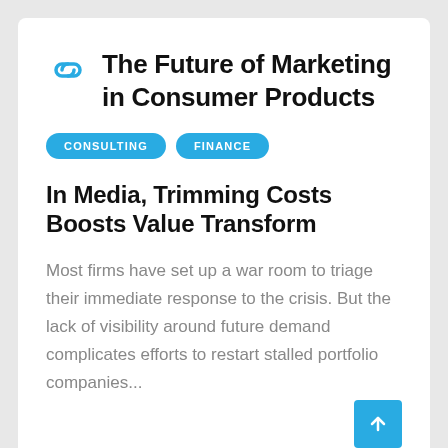The Future of Marketing in Consumer Products
CONSULTING
FINANCE
In Media, Trimming Costs Boosts Value Transform
Most firms have set up a war room to triage their immediate response to the crisis. But the lack of visibility around future demand complicates efforts to restart stalled portfolio companies...